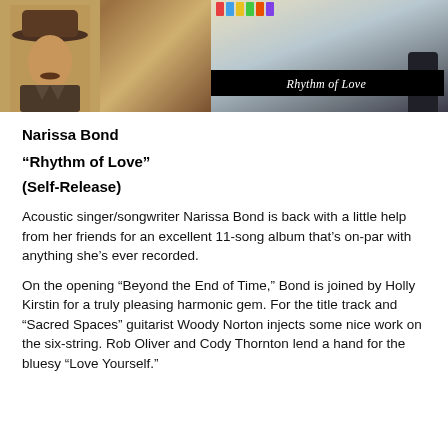[Figure (photo): Album cover composite image showing a vintage sepia portrait of a man wearing a hat on the left side, and a colorful outdoor scene on the right with a black banner reading 'Rhythm of Love' in italic script.]
Narissa Bond
“Rhythm of Love”
(Self-Release)
Acoustic singer/songwriter Narissa Bond is back with a little help from her friends for an excellent 11-song album that’s on-par with anything she’s ever recorded.
On the opening “Beyond the End of Time,” Bond is joined by Holly Kirstin for a truly pleasing harmonic gem. For the title track and “Sacred Spaces” guitarist Woody Norton injects some nice work on the six-string. Rob Oliver and Cody Thornton lend a hand for the bluesy “Love Yourself.”